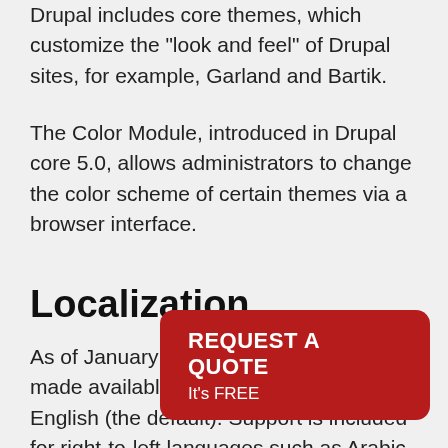Drupal includes core themes, which customize the "look and feel" of Drupal sites, for example, Garland and Bartik.
The Color Module, introduced in Drupal core 5.0, allows administrators to change the color scheme of certain themes via a browser interface.
Localization
As of January 2017, Drupal had been made available in 100 languages and English (the default). Support is inclu­ded for right-to-left languages such as Arab­ic and Hebrew.
[Figure (other): Red CTA button overlay with text 'REQUEST A QUOTE' and 'It's FREE']